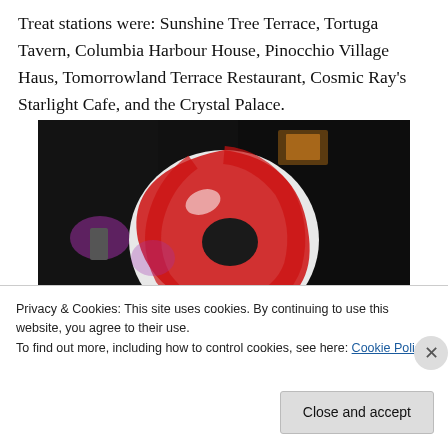Treat stations were: Sunshine Tree Terrace, Tortuga Tavern, Columbia Harbour House, Pinocchio Village Haus, Tomorrowland Terrace Restaurant, Cosmic Ray's Starlight Cafe, and the Crystal Palace.
[Figure (photo): Nighttime photo of a large illuminated red and white peppermint candy decoration at a Disney theme park, with dark background and purple lights visible.]
Privacy & Cookies: This site uses cookies. By continuing to use this website, you agree to their use.
To find out more, including how to control cookies, see here: Cookie Policy